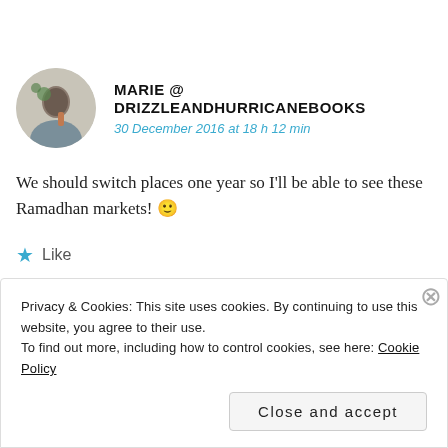[Figure (photo): Circular avatar photo of user Marie, showing a person outdoors with trees in background]
MARIE @ DRIZZLEANDHURRICANEBOOKS
30 December 2016 at 18 h 12 min
We should switch places one year so I'll be able to see these Ramadhan markets! 🙂
★ Like
Privacy & Cookies: This site uses cookies. By continuing to use this website, you agree to their use.
To find out more, including how to control cookies, see here: Cookie Policy
Close and accept